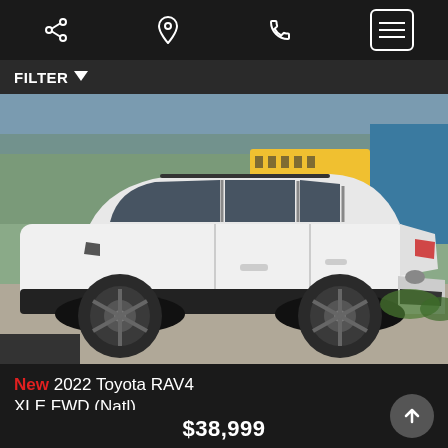Navigation bar with share, location, phone, and menu icons
FILTER
[Figure (photo): White 2022 Toyota RAV4 XLE FWD parked outdoors in a lot, side-front view, school buses and chain-link fence visible in background, daytime sunny]
New 2022 Toyota RAV4 XLE FWD (Natl) 16 miles
$38,999